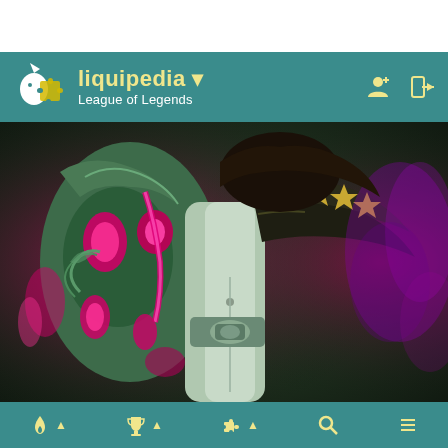liquipedia ▾ League of Legends
[Figure (photo): Close-up game art showing a League of Legends champion character with green armor decorated with glowing pink/magenta runes and ornate detailing, wearing a dark coat with gold star-shaped spikes on the shoulder, with purple magical energy in the background.]
Navigation icons: flame, trophy, puzzle, search, list